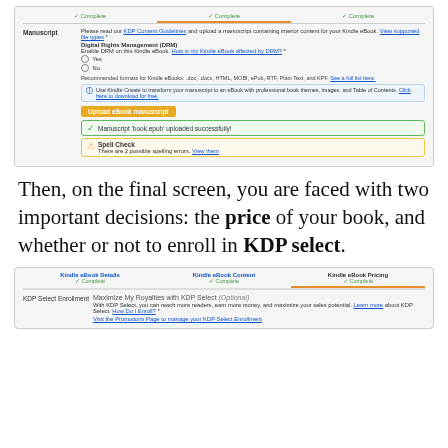[Figure (screenshot): KDP eBook content upload screen showing Manuscript section with DRM options (Yes/No radio buttons), recommended formats note, Kindle Create info box, Upload eBook manuscript button, success message 'Manuscript book.epub uploaded successfully!', and Spell Check warning with 2 possible spelling errors.]
Then, on the final screen, you are faced with two important decisions: the price of your book, and whether or not to enroll in KDP select.
[Figure (screenshot): KDP eBook Pricing screen showing three tabs (Kindle eBook Details - Complete, Kindle eBook Content - Complete, Kindle eBook Pricing - Complete with orange underline), and KDP Select Enrollment section with 'Maximize My Royalties with KDP Select (Optional)' heading, description text with Learn more and How Do I Enroll links, and Visit the Promotions Page to manage your KDP Select Enrollment link.]